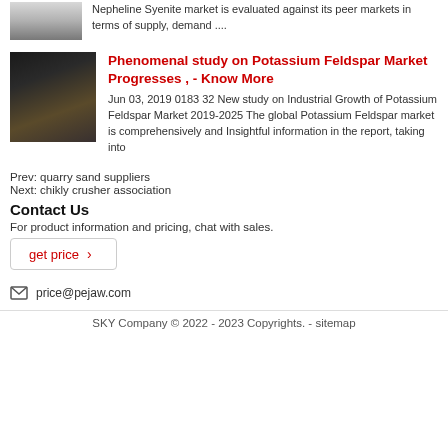Nepheline Syenite market is evaluated against its peer markets in terms of supply, demand ....
Phenomenal study on Potassium Feldspar Market Progresses , - Know More
Jun 03, 2019 0183 32 New study on Industrial Growth of Potassium Feldspar Market 2019-2025 The global Potassium Feldspar market is comprehensively and Insightful information in the report, taking into
Prev: quarry sand suppliers
Next: chikly crusher association
Contact Us
For product information and pricing, chat with sales.
get price ›
price@pejaw.com
SKY Company © 2022 - 2023 Copyrights. - sitemap